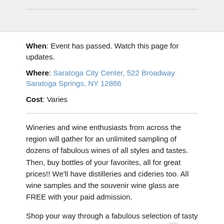When: Event has passed. Watch this page for updates.
Where: Saratoga City Center, 522 Broadway Saratoga Springs, NY 12866
Cost: Varies
Wineries and wine enthusiasts from across the region will gather for an unlimited sampling of dozens of fabulous wines of all styles and tastes. Then, buy bottles of your favorites, all for great prices!! We'll have distilleries and cideries too. All wine samples and the souvenir wine glass are FREE with your paid admission.
Shop your way through a fabulous selection of tasty nibbles and treats, chocolates, cheeses and sweets. Take a stroll through our Candy Bar and receive free samples from fabulous chocolate makers.Then get some serious retail therapy done. Browse through fantastic mini boutiques featuring jewelry, clothing and more.